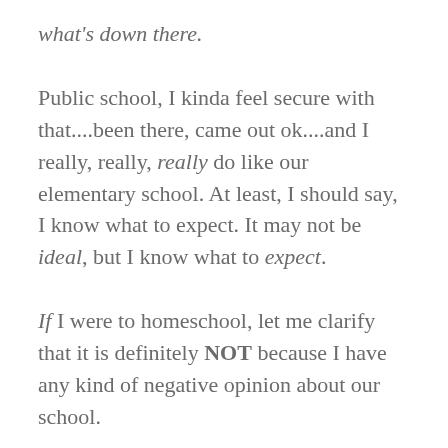what's down there.
Public school, I kinda feel secure with that....been there, came out ok....and I really, really, really do like our elementary school. At least, I should say, I know what to expect. It may not be ideal, but I know what to expect.
If I were to homeschool, let me clarify that it is definitely NOT because I have any kind of negative opinion about our school.
Now, our Middle School, that's a different story, and by 6th grade you can be guaranteed that I will be one denim-jumper-